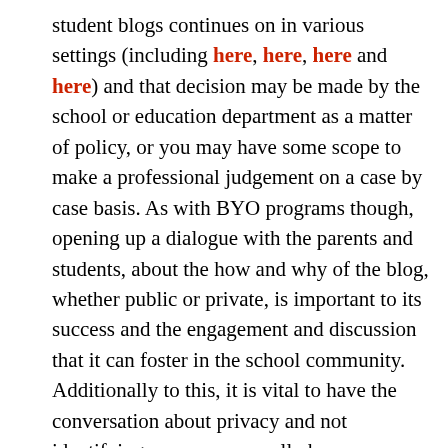student blogs continues on in various settings (including here, here, here and here) and that decision may be made by the school or education department as a matter of policy, or you may have some scope to make a professional judgement on a case by case basis. As with BYO programs though, opening up a dialogue with the parents and students, about the how and why of the blog, whether public or private, is important to its success and the engagement and discussion that it can foster in the school community. Additionally to this, it is vital to have the conversation about privacy and not identifying anyone personally by name or other descriptors that people are able to know exactly who is being talked about, and there are special considerations to take when uploading media such as images or videos such as not showing faces of minors.